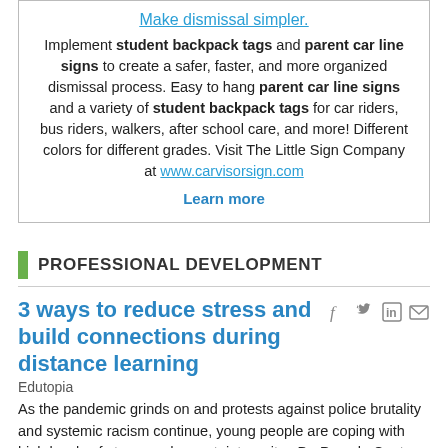Make dismissal simpler. Implement student backpack tags and parent car line signs to create a safer, faster, and more organized dismissal process. Easy to hang parent car line signs and a variety of student backpack tags for car riders, bus riders, walkers, after school care, and more! Different colors for different grades. Visit The Little Sign Company at www.carvisorsign.com — Learn more
PROFESSIONAL DEVELOPMENT
3 ways to reduce stress and build connections during distance learning
Edutopia
As the pandemic grinds on and protests against police brutality and systemic racism continue, young people are coping with high levels of stress and uncertainty, writes Dr. Pamela Cantor in "The Stress of This Moment Might Be Hurting Kids' Development" for Education Next. With the likelihood that remote learning will continue in some form this fall, many children will once more be separated from the support systems